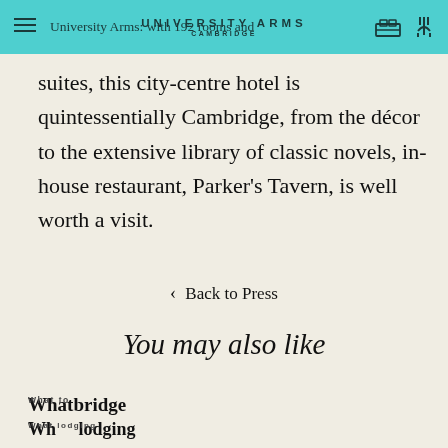University Arms: with 192 rooms and suites
suites, this city-centre hotel is quintessentially Cambridge, from the décor to the extensive library of classic novels, in-house restaurant, Parker's Tavern, is well worth a visit.
< Back to Press
You may also like
Whatbridge / What lodging